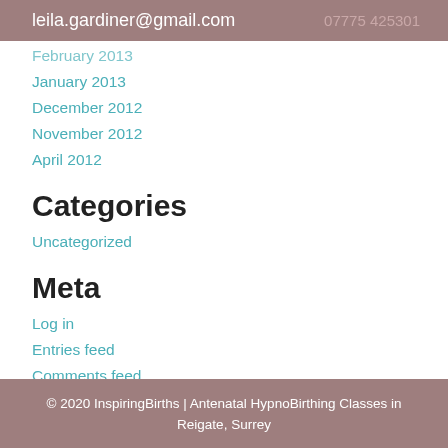leila.gardiner@gmail.com  07775 425301
February 2013
January 2013
December 2012
November 2012
April 2012
Categories
Uncategorized
Meta
Log in
Entries feed
Comments feed
WordPress.org
© 2020 InspiringBirths | Antenatal HypnoBirthing Classes in Reigate, Surrey